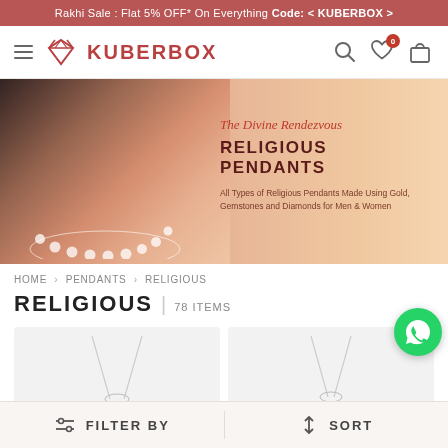Rakhi Sale : Flat 5% OFF* On Everything Code: < KUBERBOX >
[Figure (logo): KUBERBOX logo with diamond icon in red/maroon color]
[Figure (photo): Hero banner with woman wearing pearl necklace and ring, peach/salmon gradient background. Text overlay: 'The Divine Rendezvous RELIGIOUS PENDANTS. All Types of Religious Pendants Made Using Gold, Gemstones and Diamonds for Men & Women']
HOME > PENDANTS > RELIGIOUS
RELIGIOUS | 78 ITEMS
[Figure (photo): Two product cards showing jewelry pendants on chain, light gray background]
FILTER BY   SORT